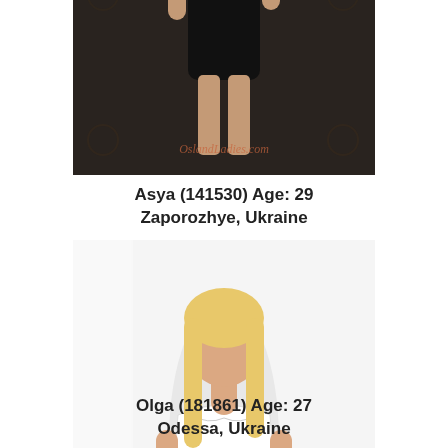[Figure (photo): Woman with dark hair wearing a black dress, posed against a dark patterned background. Watermark: OslandLadies.com]
Asya (141530) Age: 29
Zaporozhye, Ukraine
[Figure (photo): Blonde woman wearing a white crop top and blue skirt, posed against a white background. Watermark: OslandLadies.com]
Olga (181861) Age: 27
Odessa, Ukraine